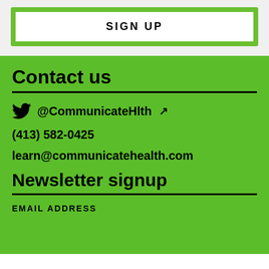SIGN UP
Contact us
@CommunicateHlth
(413) 582-0425
learn@communicatehealth.com
Newsletter signup
EMAIL ADDRESS